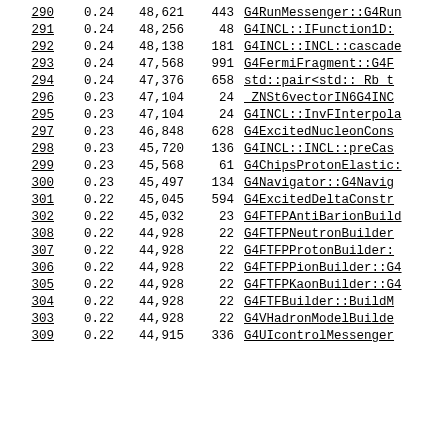| rank | pct | bytes | count | name |
| --- | --- | --- | --- | --- |
| 290 | 0.24 | 48,621 | 443 | G4RunMessenger::G4Run... |
| 291 | 0.24 | 48,256 | 48 | G4INCL::IFunction1D:... |
| 292 | 0.24 | 48,138 | 181 | G4INCL::INCL::cascade... |
| 293 | 0.24 | 47,568 | 991 | G4FermiFragment::G4F... |
| 294 | 0.24 | 47,376 | 658 | std::pair<std:: Rb t... |
| 296 | 0.23 | 47,104 | 24 | ZNSt6vectorIN6G4INC... |
| 295 | 0.23 | 47,104 | 24 | G4INCL::InvFInterpola... |
| 297 | 0.23 | 46,848 | 628 | G4ExcitedNucleonCons... |
| 298 | 0.23 | 45,720 | 136 | G4INCL::INCL::preCas... |
| 299 | 0.23 | 45,568 | 61 | G4ChipsProtonElastic:... |
| 300 | 0.23 | 45,497 | 134 | G4Navigator::G4Navig... |
| 301 | 0.22 | 45,045 | 594 | G4ExcitedDeltaConstr... |
| 302 | 0.22 | 45,032 | 23 | G4FTFPAntiBarionBuild... |
| 308 | 0.22 | 44,928 | 22 | G4FTFPNeutronBuilder... |
| 307 | 0.22 | 44,928 | 22 | G4FTFPProtonBuilder:... |
| 306 | 0.22 | 44,928 | 22 | G4FTFPPionBuilder::G4... |
| 305 | 0.22 | 44,928 | 22 | G4FTFPKaonBuilder::G4... |
| 304 | 0.22 | 44,928 | 22 | G4FTFBuilder::BuildM... |
| 303 | 0.22 | 44,928 | 22 | G4VHadronModelBuilde... |
| 309 | 0.22 | 44,915 | 336 | G4UIcontrolMessenger... |